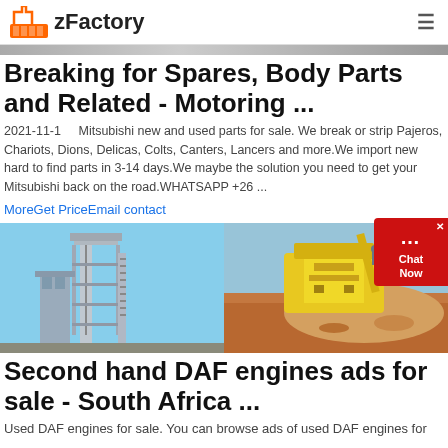zFactory
Breaking for Spares, Body Parts and Related - Motoring ...
2021-11-1   Mitsubishi new and used parts for sale. We break or strip Pajeros, Chariots, Dions, Delicas, Colts, Canters, Lancers and more.We import new hard to find parts in 3-14 days.We maybe the solution you need to get your Mitsubishi back on the road.WHATSAPP +26 ...
MoreGet PriceEmail contact
[Figure (photo): Two industrial facility photos side by side: left shows a tall industrial tower/plant structure with blue sky, right shows a yellow mining excavator/crusher machine with gravel/ore material.]
Second hand DAF engines ads for sale - South Africa ...
Used DAF engines for sale. You can browse ads of used DAF engines for